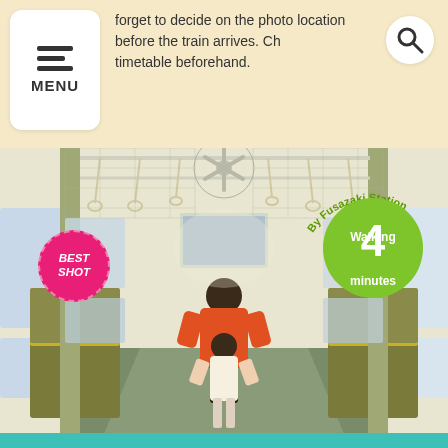forget to decide on the photo location before the train arrives. Ch timetable beforehand.
[Figure (photo): Interior of a vintage train car with green bench seats, overhead fans, hanging straps, and two people (adult and child) standing in the middle of the aisle. Yellow seat edging visible in foreground.]
By Fusazaki Station Walking 4 minutes
BEST SHOT